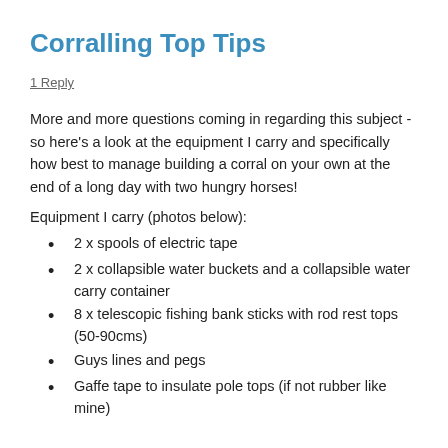Corralling Top Tips
1 Reply
More and more questions coming in regarding this subject - so here's a look at the equipment I carry and specifically how best to manage building a corral on your own at the end of a long day with two hungry horses!
Equipment I carry (photos below):
2 x spools of electric tape
2 x collapsible water buckets and a collapsible water carry container
8 x telescopic fishing bank sticks with rod rest tops (50-90cms)
Guys lines and pegs
Gaffe tape to insulate pole tops (if not rubber like mine)